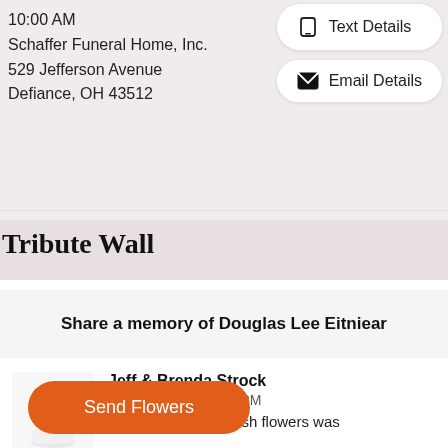10:00 AM
Schaffer Funeral Home, Inc.
529 Jefferson Avenue
Defiance, OH 43512
[Figure (screenshot): Text Details button with phone icon]
[Figure (screenshot): Email Details button with envelope icon]
Tribute Wall
Share a memory of Douglas Lee Eitniear
[Figure (photo): Flower arrangement - dish garden with fresh flowers]
Jeff & Brenda Strock
March 18, 2022 1:06 PM
Dish garden with fresh flowers was
Send Flowers